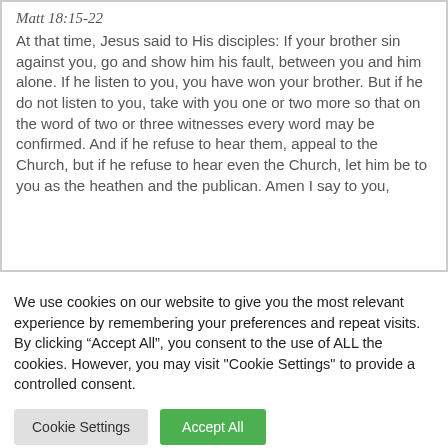Matt 18:15-22
At that time, Jesus said to His disciples: If your brother sin against you, go and show him his fault, between you and him alone. If he listen to you, you have won your brother. But if he do not listen to you, take with you one or two more so that on the word of two or three witnesses every word may be confirmed. And if he refuse to hear them, appeal to the Church, but if he refuse to hear even the Church, let him be to you as the heathen and the publican. Amen I say to you,
We use cookies on our website to give you the most relevant experience by remembering your preferences and repeat visits. By clicking “Accept All”, you consent to the use of ALL the cookies. However, you may visit "Cookie Settings" to provide a controlled consent.
Cookie Settings | Accept All